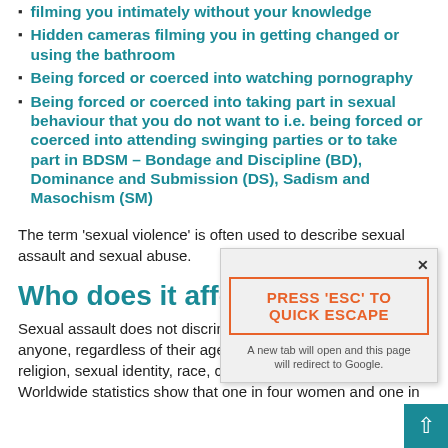filming you intimately without your knowledge
Hidden cameras filming you in getting changed or using the bathroom
Being forced or coerced into watching pornography
Being forced or coerced into taking part in sexual behaviour that you do not want to i.e. being forced or coerced into attending swinging parties or to take part in BDSM – Bondage and Discipline (BD), Dominance and Submission (DS), Sadism and Masochism (SM)
The term 'sexual violence' is often used to describe sexual assault and sexual abuse.
Who does it affect?
Sexual assault does not discrim... anyone, regardless of their age, social background, gender, religion, sexual identity, race, culture, ethnicity or disability. Worldwide statistics show that one in four women and one in
[Figure (screenshot): Popup dialog with close X button, orange-bordered button reading PRESS 'ESC' TO QUICK ESCAPE, and note text: A new tab will open and this page will redirect to Google.]